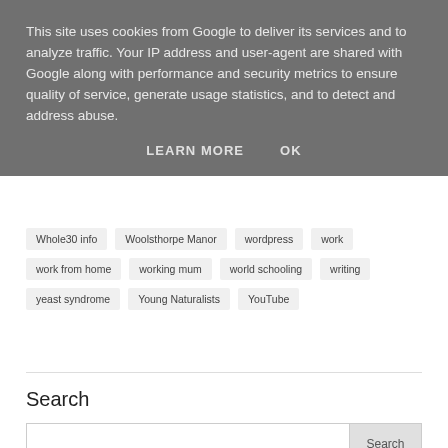This site uses cookies from Google to deliver its services and to analyze traffic. Your IP address and user-agent are shared with Google along with performance and security metrics to ensure quality of service, generate usage statistics, and to detect and address abuse.
LEARN MORE    OK
Whole30 info
Woolsthorpe Manor
wordpress
work
work from home
working mum
world schooling
writing
yeast syndrome
Young Naturalists
YouTube
Search